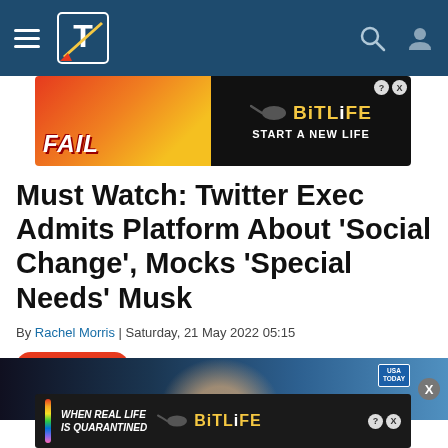Navigation bar with hamburger menu, TZP logo, search and user icons
[Figure (photo): BitLife advertisement banner: FAIL text with cartoon character, fire, on orange-red background. Right side black with BitLife logo and 'START A NEW LIFE' text]
Must Watch: Twitter Exec Admits Platform About 'Social Change', Mocks 'Special Needs' Musk
By Rachel Morris | Saturday, 21 May 2022 05:15
DEBATE 3   1.4K
[Figure (photo): Partial photo of Elon Musk with blue/purple background, USA TODAY watermark badge in top right]
[Figure (photo): BitLife advertisement: WHEN REAL LIFE IS QUARANTINED text, BitLife logo, star-eyes emoji and thumbs up emoji]